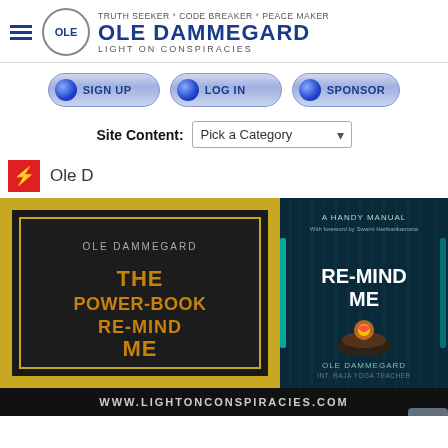TRUTH SEEKER * CODE BREAKER * PEACE MAKER | OLE DAMMEGARD | LIGHT ON CONSPIRACIES
[Figure (logo): Ole Dammegard website navigation buttons: SIGN UP, LOG IN, SPONSOR with blue ball icons]
Site Content: Pick a Category
Ole D
[Figure (photo): Book cover collage showing 'The Power-Book Re-Mind Me' by Ole Dammegard on dark gold background (left) and 'Re-Mind Me' book cover with hands holding a heart on teal matrix background (right), with website URL www.lightonconspiracies.com at bottom]